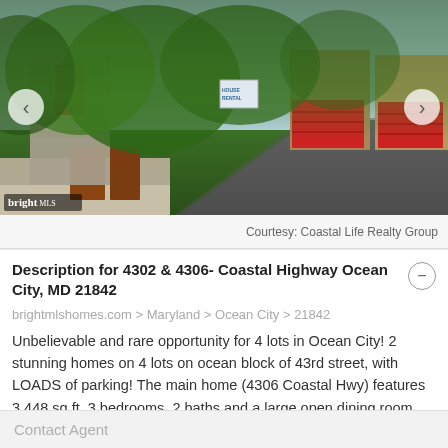[Figure (photo): Exterior photo of residential properties at 4302 & 4306 Coastal Highway Ocean City MD, showing brick buildings with red garage doors, driveway, green trees and landscaping. Bright MLS watermark in bottom-left corner.]
Courtesy: Coastal Life Realty Group
Description for 4302 & 4306- Coastal Highway Ocean City, MD 21842
brightmlshomes.com > Maryland > Ocean City > 21842
Unbelievable and rare opportunity for 4 lots in Ocean City! 2 stunning homes on 4 lots on ocean block of 43rd street, with LOADS of parking! The main home (4306 Coastal Hwy) features 3,448 sq ft, 3 bedrooms, 2 baths and a large open dining room and living room, with bright light and flows
Contact Agent